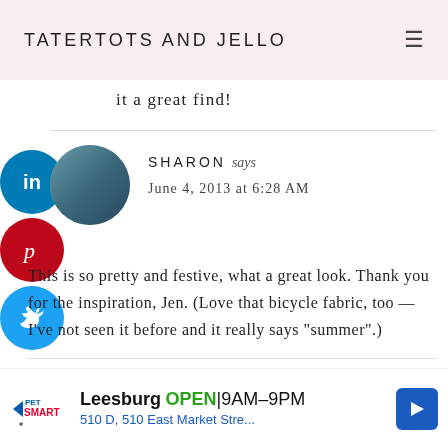TATERTOTS AND JELLO
it a great find!
SHARON says
June 4, 2013 at 6:28 AM
This is so pretty and festive, what a great look. Thank you for the inspiration, Jen. (Love that bicycle fabric, too — I’ve not seen it before and it really says “summer”.)
Leesburg OPEN 9AM–9PM 510 D, 510 East Market Stre...